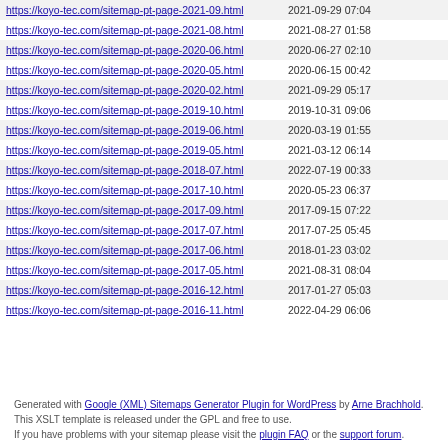| URL | Last Modified |
| --- | --- |
| https://koyo-tec.com/sitemap-pt-page-2021-09.html | 2021-09-29 07:04 |
| https://koyo-tec.com/sitemap-pt-page-2021-08.html | 2021-08-27 01:58 |
| https://koyo-tec.com/sitemap-pt-page-2020-06.html | 2020-06-27 02:10 |
| https://koyo-tec.com/sitemap-pt-page-2020-05.html | 2020-06-15 00:42 |
| https://koyo-tec.com/sitemap-pt-page-2020-02.html | 2021-09-29 05:17 |
| https://koyo-tec.com/sitemap-pt-page-2019-10.html | 2019-10-31 09:06 |
| https://koyo-tec.com/sitemap-pt-page-2019-06.html | 2020-03-19 01:55 |
| https://koyo-tec.com/sitemap-pt-page-2019-05.html | 2021-03-12 06:14 |
| https://koyo-tec.com/sitemap-pt-page-2018-07.html | 2022-07-19 00:33 |
| https://koyo-tec.com/sitemap-pt-page-2017-10.html | 2020-05-23 06:37 |
| https://koyo-tec.com/sitemap-pt-page-2017-09.html | 2017-09-15 07:22 |
| https://koyo-tec.com/sitemap-pt-page-2017-07.html | 2017-07-25 05:45 |
| https://koyo-tec.com/sitemap-pt-page-2017-06.html | 2018-01-23 03:02 |
| https://koyo-tec.com/sitemap-pt-page-2017-05.html | 2021-08-31 08:04 |
| https://koyo-tec.com/sitemap-pt-page-2016-12.html | 2017-01-27 05:03 |
| https://koyo-tec.com/sitemap-pt-page-2016-11.html | 2022-04-29 06:06 |
Generated with Google (XML) Sitemaps Generator Plugin for WordPress by Arne Brachhold. This XSLT template is released under the GPL and free to use. If you have problems with your sitemap please visit the plugin FAQ or the support forum.